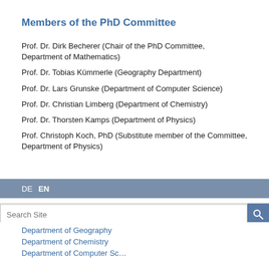Members of the PhD Committee
Prof. Dr. Dirk Becherer (Chair of the PhD Committee, Department of Mathematics)
Prof. Dr. Tobias Kümmerle (Geography Department)
Prof. Dr. Lars Grunske (Department of Computer Science)
Prof. Dr. Christian Limberg (Department of Chemistry)
Prof. Dr. Thorsten Kamps (Department of Physics)
Prof. Christoph Koch, PhD (Substitute member of the Committee, Department of Physics)
DE  EN
Search Site
Department of Geography
Department of Chemistry
Department of Computer Science